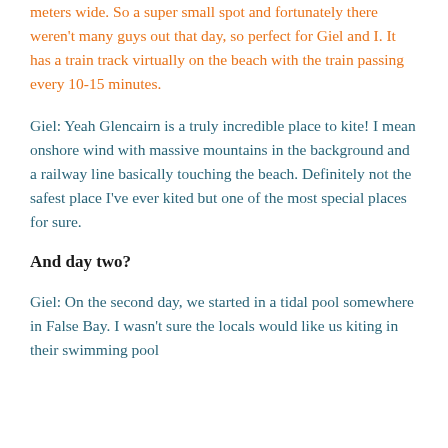meters wide. So a super small spot and fortunately there weren't many guys out that day, so perfect for Giel and I. It has a train track virtually on the beach with the train passing every 10-15 minutes.
Giel: Yeah Glencairn is a truly incredible place to kite! I mean onshore wind with massive mountains in the background and a railway line basically touching the beach. Definitely not the safest place I've ever kited but one of the most special places for sure.
And day two?
Giel: On the second day, we started in a tidal pool somewhere in False Bay. I wasn't sure the locals would like us kiting in their swimming pool